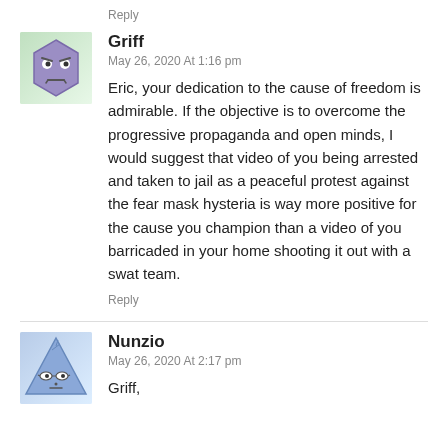Reply
Griff
May 26, 2020 At 1:16 pm
Eric, your dedication to the cause of freedom is admirable. If the objective is to overcome the progressive propaganda and open minds, I would suggest that video of you being arrested and taken to jail as a peaceful protest against the fear mask hysteria is way more positive for the cause you champion than a video of you barricaded in your home shooting it out with a swat team.
Reply
Nunzio
May 26, 2020 At 2:17 pm
Griff,